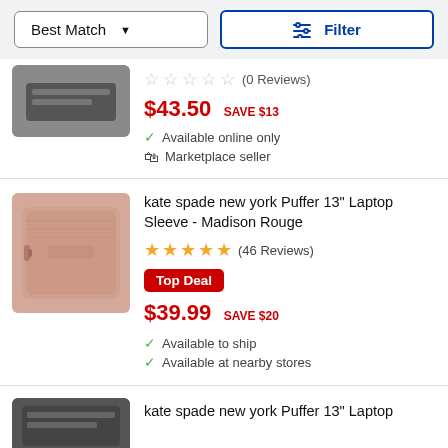[Figure (screenshot): Sort dropdown button labeled 'Best Match' with down arrow, and blue-bordered Filter button with filter icon]
(0 Reviews)
$43.50  SAVE $13
Available online only
Marketplace seller
[Figure (photo): Pink/mauve kate spade laptop sleeve product photo]
kate spade new york Puffer 13" Laptop Sleeve - Madison Rouge
★★★★★ (46 Reviews)
Top Deal
$39.99  SAVE $20
Available to ship
Available at nearby stores
[Figure (photo): Partial black kate spade laptop product photo at bottom]
kate spade new york Puffer 13" Laptop